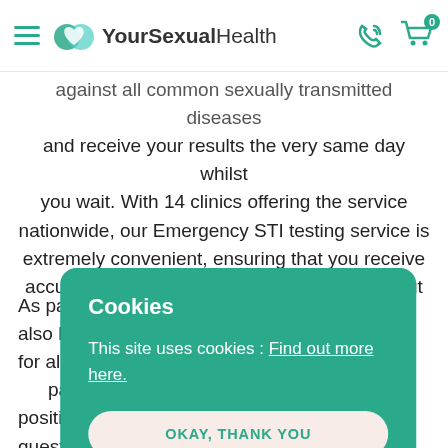YourSexualHealth
against all common sexually transmitted diseases and receive your results the very same day whilst you wait. With 14 clinics offering the service nationwide, our Emergency STI testing service is extremely convenient, ensuring that you receive accurate results and effective treatment without waiting any longer than you need to.
As part of our... also benefit... for all positi... partner me... positive resu... questions yo... also offer... prescription... our range of tests below, discover how the service
Cookies
This site uses cookies : Find out more here.
OKAY, THANK YOU